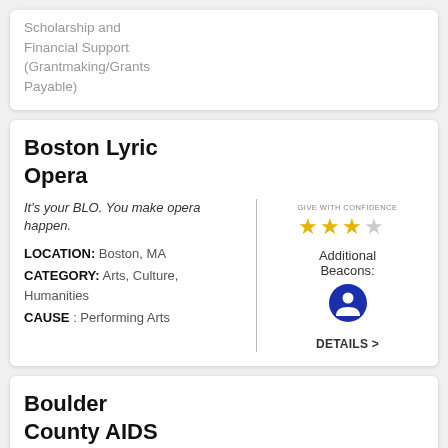Scholarship and Financial Support (Grantmaking/Grants Payable)
Boston Lyric Opera
It's your BLO. You make opera happen.
LOCATION: Boston, MA
CATEGORY: Arts, Culture, Humanities
CAUSE : Performing Arts
[Figure (infographic): Give With Confidence rating: 3 out of 4 stars, with Additional Beacons section and a blue circular person icon with DETAILS > link]
Boulder County AIDS Project
Building a future